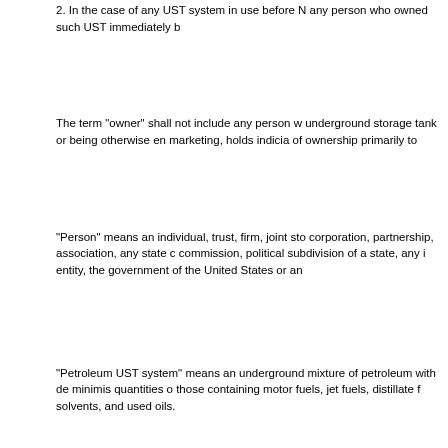2. In the case of any UST system in use before N any person who owned such UST immediately b
The term "owner" shall not include any person w underground storage tank or being otherwise en marketing, holds indicia of ownership primarily to
"Person" means an individual, trust, firm, joint sto corporation, partnership, association, any state c commission, political subdivision of a state, any i entity, the government of the United States or an
"Petroleum UST system" means an underground mixture of petroleum with de minimis quantities o those containing motor fuels, jet fuels, distillate f solvents, and used oils.
"Pipe" or "piping" means a hollow cylinder or the materials that routinely contains and conveys reg the dispenser(s) or other end-use equipment. Su valves, or other in-line fixtures that contain and c tank(s) to the dispenser(s). Pipe or piping does n
"Pipeline facilities (including gathering lines)" are associated equipment, facilities, or buildings.
"Potable drinking water well" means any hole (du until it meets groundwater that supplies water fo supplies water for household use (consisting of c wells may provide water to entities such as a sin schools, parks, campgrounds, and other permane
"Product delivery" is any person who delivers